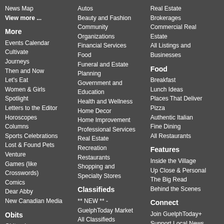News Map
View more ...
More
Events Calendar
Cultivate
Journeys
Then and Now
Let's Eat
Women & Girls
Spotlight
Letters to the Editor
Horoscopes
Columns
Sports Celebrations
Lost & Found Pets
Venture
Games (like Crosswords)
Comics
Dear Abby
New Canadian Media
Obits
Obituaries
Autos
Beauty and Fashion
Community Organizations
Financial Services
Food
Funeral and Estate Planning
Government and Education
Health and Wellness
Home Decor
Home Improvement
Professional Services
Real Estate
Recreation
Restaurants
Shopping and Specialty Stores
Classifieds
** NEW ** - GuelphToday Market
All Classifieds
Post a Free Ad
Real Estate
Brokerages
Commercial Real Estate
All Listings and Businesses
Food
Breakfast
Lunch Ideas
Places That Deliver Pizza
Authentic Italian
Fine Dining
All Restaurants
Features
Inside the Village
Up Close & Personal
The Big Read
Behind the Scenes
Connect
Join GuelphToday+
Support Local News